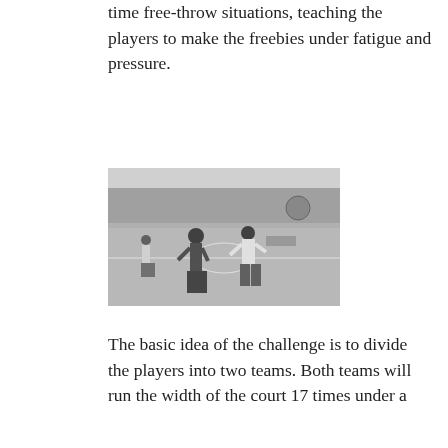time free-throw situations, teaching the players to make the freebies under fatigue and pressure.
[Figure (photo): Black and white photograph of players playing basketball on an outdoor court, with trees and a park in the background.]
The basic idea of the challenge is to divide the players into two teams. Both teams will run the width of the court 17 times under a